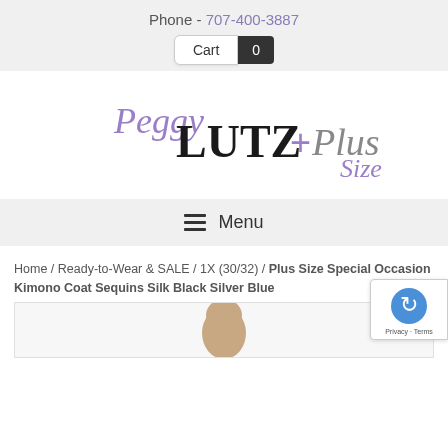Phone - 707-400-3887
Cart 0
[Figure (logo): Peggy Lutz + Plus Size logo with cursive 'Peggy' in purple, bold 'LUTZ' in black, '+Plus' in gray/purple, and cursive 'Size' in gray]
☰ Menu
Home / Ready-to-Wear & SALE / 1X (30/32) / Plus Size Special Occasion Kimono Coat Sequins Silk Black Silver Blue
[Figure (photo): Partial product photo showing a model wearing the Kimono Coat]